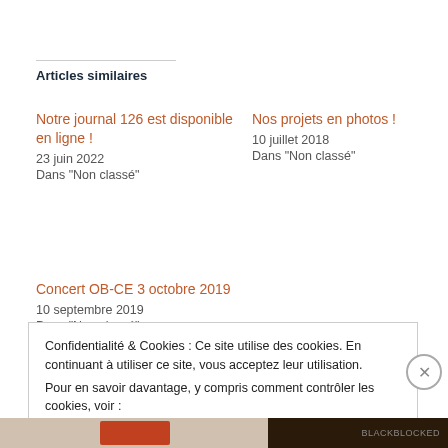Articles similaires
Notre journal 126 est disponible en ligne !
23 juin 2022
Dans "Non classé"
Nos projets en photos !
10 juillet 2018
Dans "Non classé"
Concert OB-CE 3 octobre 2019
10 septembre 2019
Dans "Non classé"
Confidentialité & Cookies : Ce site utilise des cookies. En continuant à utiliser ce site, vous acceptez leur utilisation.
Pour en savoir davantage, y compris comment contrôler les cookies, voir :
Politique relative aux cookies
Fermer et accepter